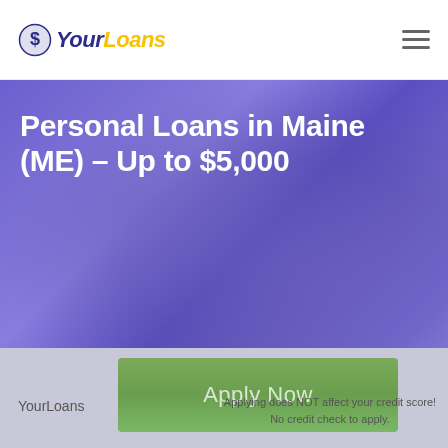YourLoans
Personal Loans in Maine (ME) – Up to $5,000
[Figure (photo): Blurred purple/blue background hero image with a person silhouette]
Apply Now
YourLoans
Applying does NOT affect your credit score! No credit check to apply.